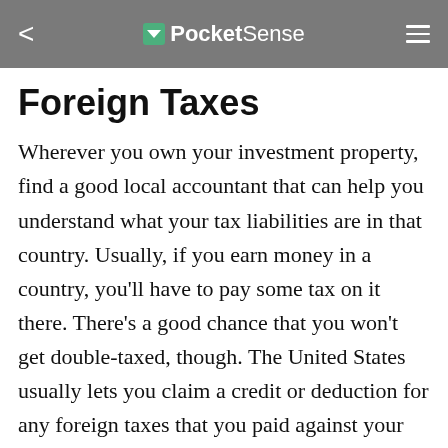PocketSense
Foreign Taxes
Wherever you own your investment property, find a good local accountant that can help you understand what your tax liabilities are in that country. Usually, if you earn money in a country, you'll have to pay some tax on it there. There's a good chance that you won't get double-taxed, though. The United States usually lets you claim a credit or deduction for any foreign taxes that you paid against your domestic income taxes.